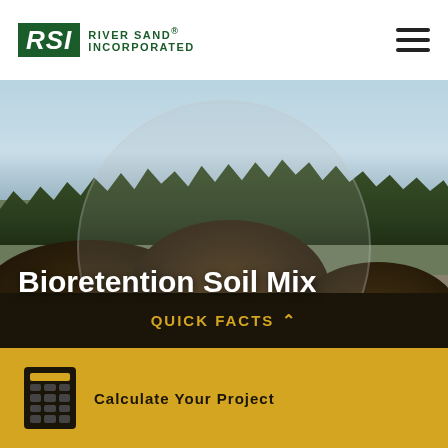[Figure (logo): RSI River Sand Incorporated logo with green background RSI letters and company name text]
[Figure (photo): Outdoor construction site photo showing large mounds of dark bioretention soil mix along a road with bare trees in the background and a circular overlay graphic. Bold white text reads Bioretention Soil Mix.]
QUICK FACTS ∧
Calculate Your Project